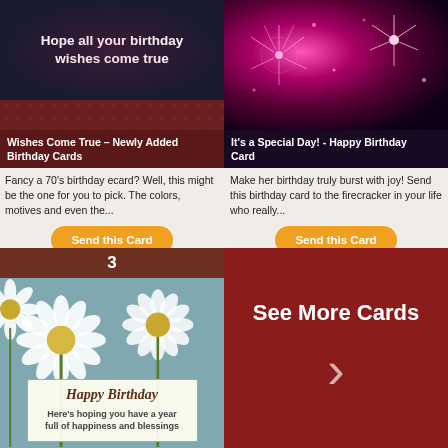[Figure (illustration): Birthday card with dark background and text 'Hope all your birthday wishes come true', with dark red dotted pattern at bottom]
Wishes Come True – Newly Added Birthday Cards
Fancy a 70's birthday ecard? Well, this might be the one for you to pick. The colors, motives and even the...
Send this Card
[Figure (photo): Pink and purple fireworks on dark background]
It's a Special Day! - Happy Birthday Card
Make her birthday truly burst with joy! Send this birthday card to the firecracker in your life who really...
Send this Card
[Figure (illustration): Birthday card with daisies on blue-grey background, with inner card text: 'Happy Birthday, Here's hoping you have a year full of happiness and blessings'. Number 3 label at top on brown bar.]
See More Cards